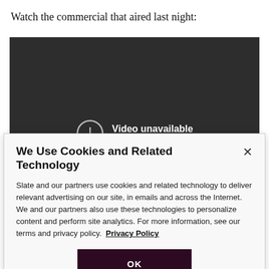Watch the commercial that aired last night:
[Figure (screenshot): Dark video player showing 'Video unavailable' message with an exclamation mark icon in a circle and subtitle 'This video is unavailable']
We Use Cookies and Related Technology
Slate and our partners use cookies and related technology to deliver relevant advertising on our site, in emails and across the Internet. We and our partners also use these technologies to personalize content and perform site analytics. For more information, see our terms and privacy policy. Privacy Policy
OK